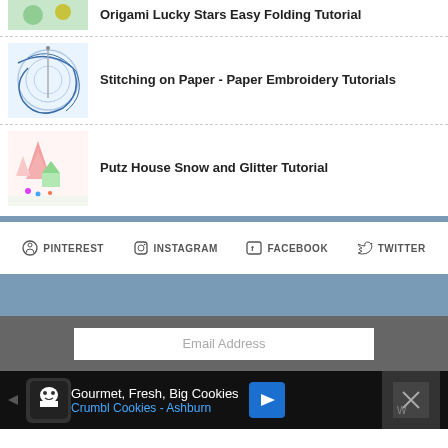Origami Lucky Stars Easy Folding Tutorial
Stitching on Paper - Paper Embroidery Tutorials
Putz House Snow and Glitter Tutorial
PINTEREST   INSTAGRAM   FACEBOOK   TWITTER
Email Address
[Figure (photo): Advertisement: Gourmet, Fresh, Big Cookies - Crumbl Cookies - Ashburn]